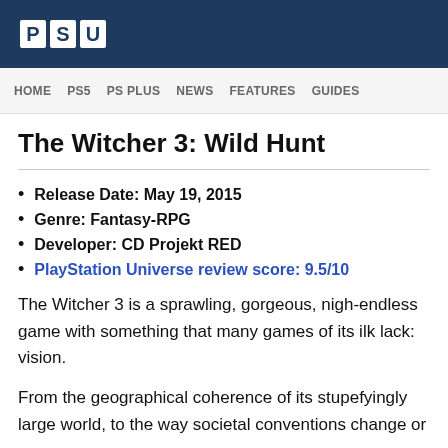PSU
HOME  PS5  PS PLUS  NEWS  FEATURES  GUIDES
The Witcher 3: Wild Hunt
Release Date: May 19, 2015
Genre: Fantasy-RPG
Developer: CD Projekt RED
PlayStation Universe review score: 9.5/10
The Witcher 3 is a sprawling, gorgeous, nigh-endless game with something that many games of its ilk lack: vision.
From the geographical coherence of its stupefyingly large world, to the way societal conventions change or